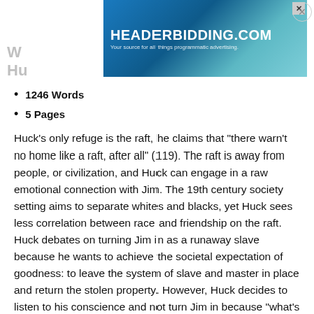[Figure (other): Advertisement banner for HEADERBIDDING.COM with tagline 'Your source for all things programmatic advertising.' Blue/teal gradient background.]
1246 Words
5 Pages
Huck's only refuge is the raft, he claims that “there warn’t no home like a raft, after all” (119). The raft is away from people, or civilization, and Huck can engage in a raw emotional connection with Jim. The 19th century society setting aims to separate whites and blacks, yet Huck sees less correlation between race and friendship on the raft. Huck debates on turning Jim in as a runaway slave because he wants to achieve the societal expectation of goodness: to leave the system of slave and master in place and return the stolen property. However, Huck decides to listen to his conscience and not turn Jim in because “what’s the use you learning to do right when it’s